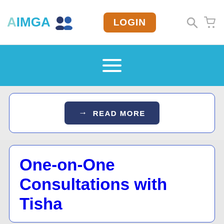AIMGA LOGIN
[Figure (screenshot): Navigation bar with AIMGA logo, LOGIN button, search and cart icons]
[Figure (screenshot): Blue menu bar with hamburger menu icon]
[Figure (screenshot): READ MORE button in dark navy blue rounded rectangle]
One-on-One Consultations with Tisha